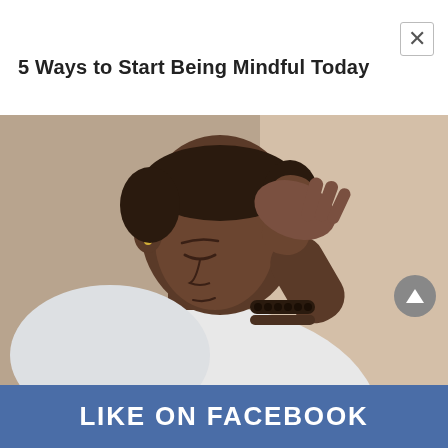5 Ways to Start Being Mindful Today
[Figure (photo): Man with dark skin and short hair bowing his head with his hand raised to his forehead, wearing a white patterned shirt and dark bead bracelets on his wrist, appearing stressed or in prayer]
LIKE ON FACEBOOK